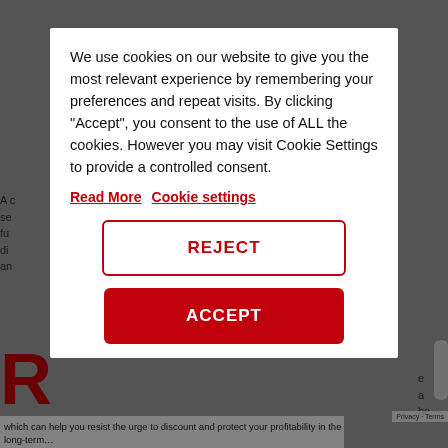We use cookies on our website to give you the most relevant experience by remembering your preferences and repeat visits. By clicking “Accept”, you consent to the use of ALL the cookies. However you may visit Cookie Settings to provide a controlled consent.
Read More   Cookie settings
REJECT
ACCEPT